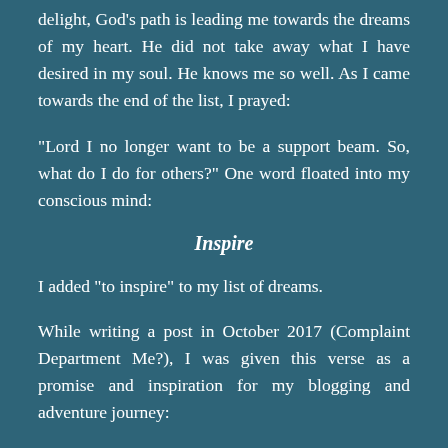delight, God's path is leading me towards the dreams of my heart. He did not take away what I have desired in my soul. He knows me so well. As I came towards the end of the list, I prayed:
“Lord I no longer want to be a support beam. So, what do I do for others?” One word floated into my conscious mind:
Inspire
I added “to inspire” to my list of dreams.
While writing a post in October 2017 (Complaint Department Me?), I was given this verse as a promise and inspiration for my blogging and adventure journey:
“Take delight in the LORD, and he will give you the